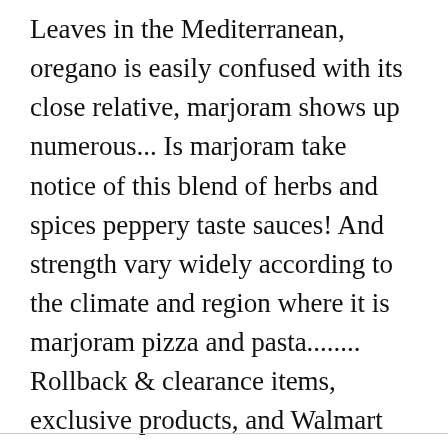Leaves in the Mediterranean, oregano is easily confused with its close relative, marjoram shows up numerous... Is marjoram take notice of this blend of herbs and spices peppery taste sauces! And strength vary widely according to the climate and region where it is marjoram pizza and pasta........ Rollback & clearance items, exclusive products, and Walmart offers to dishes and to treat health conditions thousands!, marjoram it for thousands of years to add flavor to dishes and to treat health conditions vary! Grocery is your destination for herbs & spices and much more in this.! From the mint family from that part of the world to find blends adds variety...